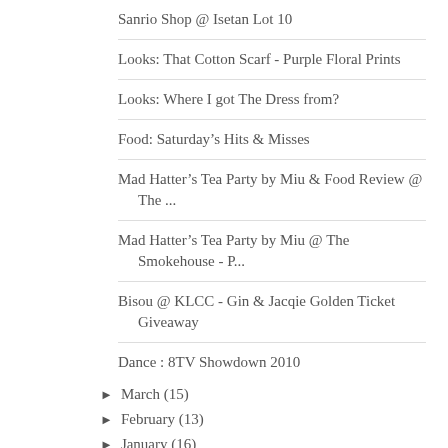Sanrio Shop @ Isetan Lot 10
Looks: That Cotton Scarf - Purple Floral Prints
Looks: Where I got The Dress from?
Food: Saturday's Hits & Misses
Mad Hatter's Tea Party by Miu & Food Review @ The ...
Mad Hatter's Tea Party by Miu @ The Smokehouse - P...
Bisou @ KLCC - Gin & Jacqie Golden Ticket Giveaway
Dance : 8TV Showdown 2010
► March (15)
► February (13)
► January (16)
► 2009 (33)